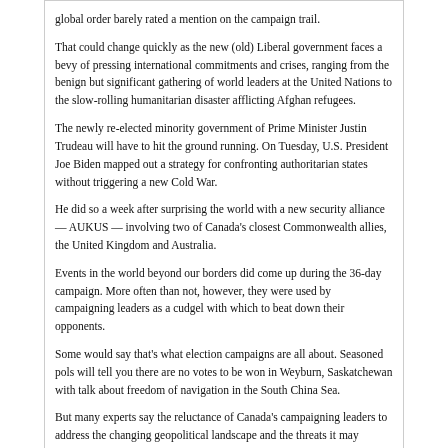global order barely rated a mention on the campaign trail.
That could change quickly as the new (old) Liberal government faces a bevy of pressing international commitments and crises, ranging from the benign but significant gathering of world leaders at the United Nations to the slow-rolling humanitarian disaster afflicting Afghan refugees.
The newly re-elected minority government of Prime Minister Justin Trudeau will have to hit the ground running. On Tuesday, U.S. President Joe Biden mapped out a strategy for confronting authoritarian states without triggering a new Cold War.
He did so a week after surprising the world with a new security alliance — AUKUS — involving two of Canada's closest Commonwealth allies, the United Kingdom and Australia.
Events in the world beyond our borders did come up during the 36-day campaign. More often than not, however, they were used by campaigning leaders as a cudgel with which to beat down their opponents.
Some would say that's what election campaigns are all about. Seasoned pols will tell you there are no votes to be won in Weyburn, Saskatchewan with talk about freedom of navigation in the South China Sea.
But many experts say the reluctance of Canada's campaigning leaders to address the changing geopolitical landscape and the threats it may produce is myopic and dangerous — especially now, with the country slowly recovering from a foreign-spawned global pandemic that brought life as we knew it to a standstill.